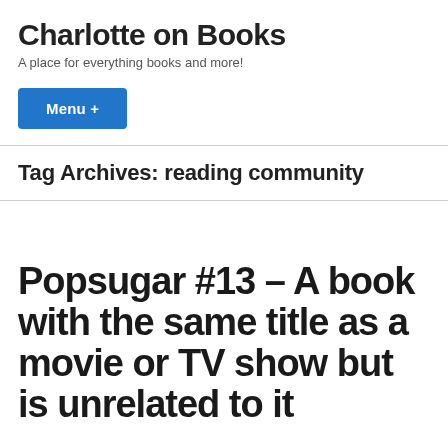Charlotte on Books
A place for everything books and more!
Menu +
Tag Archives: reading community
Popsugar #13 – A book with the same title as a movie or TV show but is unrelated to it